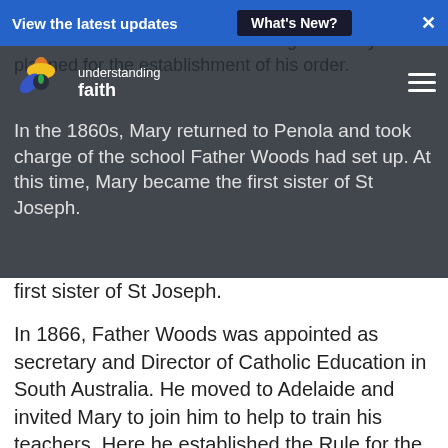View the latest updates  What's New?  ✕
[Figure (logo): Understanding Faith logo — colorful pinwheel with green, red, orange, yellow, blue petals and text 'understanding faith']
after she returned to her family in Victoria, she kept in touch with Father Woods and together they planned for the establishment of his order. In the 1860s, Mary returned to Penola and took charge of the school Father Woods had set up. At this time, Mary became the first sister of St Joseph.
In 1866, Father Woods was appointed as secretary and Director of Catholic Education in South Australia. He moved to Adelaide and invited Mary to join him to help to train his teachers. Here he established the Rule for the Sister of Saint Joseph. Mary's dream of devoting her life to God was now a reality.